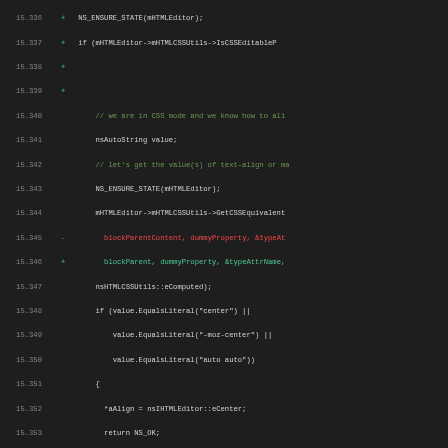[Figure (screenshot): Source code diff viewer showing lines 15.336 through 15.369 of a C++ file, dark theme, with line numbers, diff markers (+/-), and syntax highlighting in green, red, and magenta.]